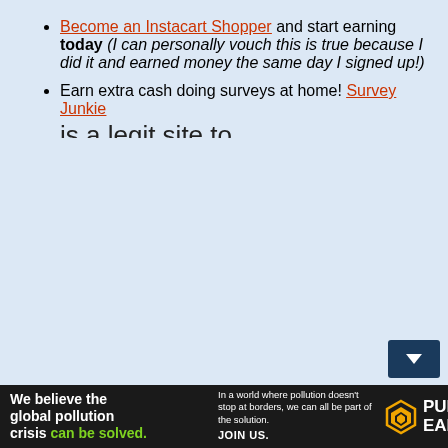Become an Instacart Shopper and start earning today (I can personally vouch this is true because I did it and earned money the same day I signed up!)
Earn extra cash doing surveys at home! Survey Junkie is a legit site to...
[Figure (other): Pure Earth advertisement banner: 'We believe the global pollution crisis can be solved.' with Pure Earth logo]